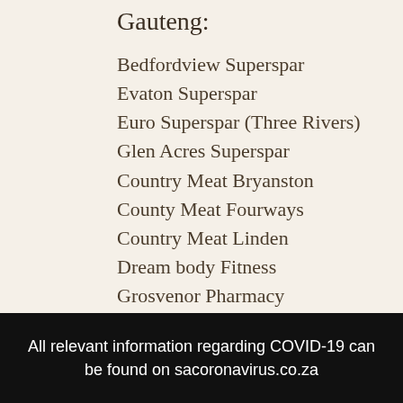Gauteng:
Bedfordview Superspar
Evaton Superspar
Euro Superspar (Three Rivers)
Glen Acres Superspar
Country Meat Bryanston
County Meat Fourways
Country Meat Linden
Dream body Fitness
Grosvenor Pharmacy
Morningside Pharmacy The Wedge
Pharma Value Pharmacies
All relevant information regarding COVID-19 can be found on sacoronavirus.co.za